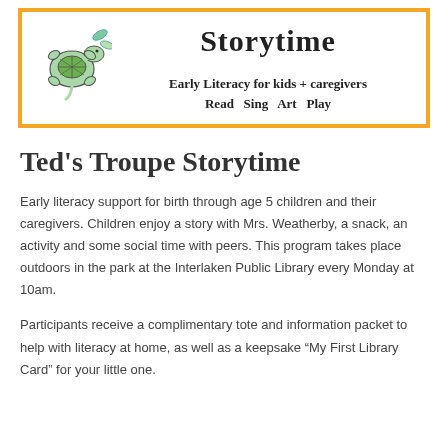[Figure (illustration): Orange-bordered banner with a turtle illustration on the left and the text 'Storytime', 'Early Literacy for kids + caregivers', 'Read Sing Art Play' on the right]
Ted's Troupe Storytime
Early literacy support for birth through age 5 children and their caregivers. Children enjoy a story with Mrs. Weatherby, a snack, an activity and some social time with peers. This program takes place outdoors in the park at the Interlaken Public Library every Monday at 10am.
Participants receive a complimentary tote and information packet to help with literacy at home, as well as a keepsake “My First Library Card” for your little one.